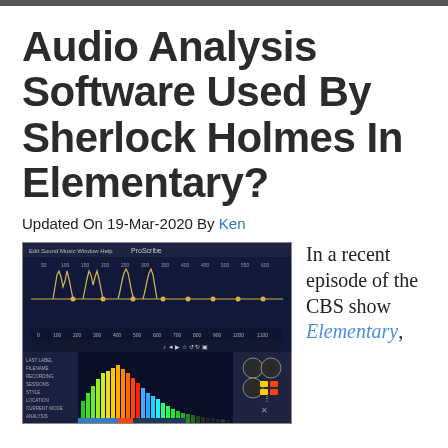Audio Analysis Software Used By Sherlock Holmes In Elementary?
Updated On 19-Mar-2020 By Ken
[Figure (screenshot): Screenshot of audio analysis software (ProScribe or similar), showing a waveform view on top and a colorful spectrum/histogram display below, on a dark blue background with various controls and menus.]
In a recent episode of the CBS show Elementary,